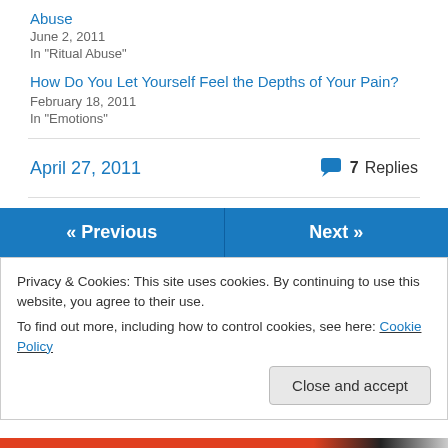Abuse
June 2, 2011
In "Ritual Abuse"
How Do You Let Yourself Feel the Depths of Your Pain?
February 18, 2011
In "Emotions"
April 27, 2011
7 Replies
« Previous
Next »
Privacy & Cookies: This site uses cookies. By continuing to use this website, you agree to their use.
To find out more, including how to control cookies, see here: Cookie Policy
Close and accept